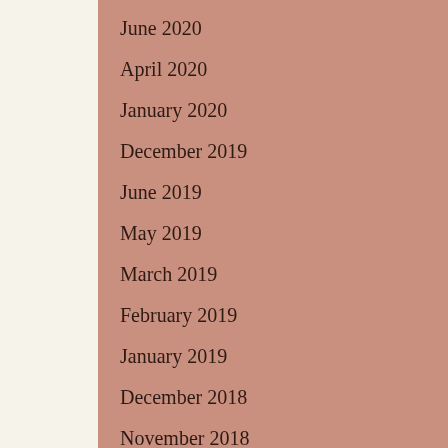June 2020
April 2020
January 2020
December 2019
June 2019
May 2019
March 2019
February 2019
January 2019
December 2018
November 2018
October 2018
August 2018
July 2018